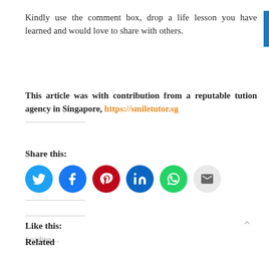Kindly use the comment box, drop a life lesson you have learned and would love to share with others.
This article was with contribution from a reputable tution agency in Singapore, https://smiletutor.sg
Share this:
[Figure (infographic): Six social share icon circles: Twitter (blue), Facebook (dark blue), Pinterest (red), LinkedIn (dark blue), WhatsApp (green), Email (gray)]
Like this:
Loading...
Related